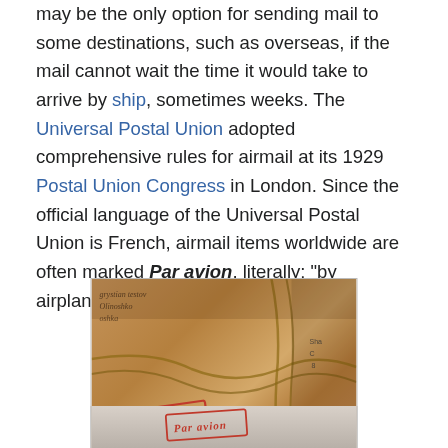may be the only option for sending mail to some destinations, such as overseas, if the mail cannot wait the time it would take to arrive by ship, sometimes weeks. The Universal Postal Union adopted comprehensive rules for airmail at its 1929 Postal Union Congress in London. Since the official language of the Universal Postal Union is French, airmail items worldwide are often marked Par avion, literally: "by airplane".
[Figure (photo): A brown paper parcel tied with string, stamped with a red 'Par avion' mark in italic text, with handwritten address text visible. The parcel appears to be from Kyrgyzstan.]
Airmail instructional mark on a parcel from Kyrgyzstan
[Figure (photo): Partial view of another airmail item, partially cropped at the bottom of the page.]